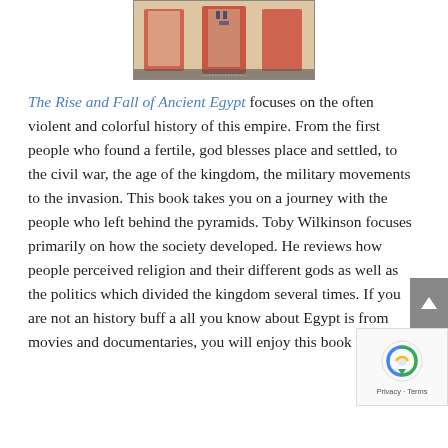[Figure (photo): Partial view of an ancient Egyptian illustration/painting showing figures in traditional Egyptian artistic style with hieroglyphics, in red, cream, and blue tones.]
The Rise and Fall of Ancient Egypt focuses on the often violent and colorful history of this empire. From the first people who found a fertile, god blesses place and settled, to the civil war, the age of the kingdom, the military movements to the invasion. This book takes you on a journey with the people who left behind the pyramids. Toby Wilkinson focuses primarily on how the society developed. He reviews how people perceived religion and their different gods as well as the politics which divided the kingdom several times. If you are not an history buff a all you know about Egypt is from movies and documentaries, you will enjoy this book because